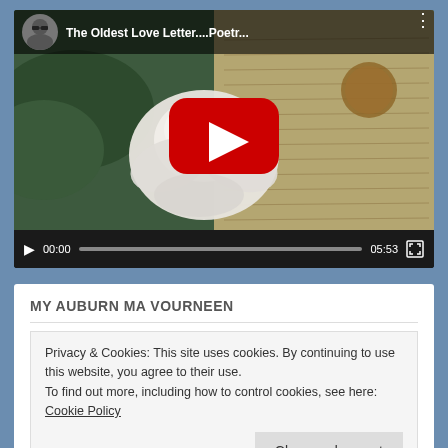[Figure (screenshot): YouTube video player screenshot showing a video titled 'The Oldest Love Letter....Poetr...' with a white rose on a handwritten letter as thumbnail, showing a play button overlay, avatar of a person with sunglasses, and video controls at bottom showing 00:00 / 05:53]
MY AUBURN MA VOURNEEN
Privacy & Cookies: This site uses cookies. By continuing to use this website, you agree to their use.
To find out more, including how to control cookies, see here: Cookie Policy
Close and accept